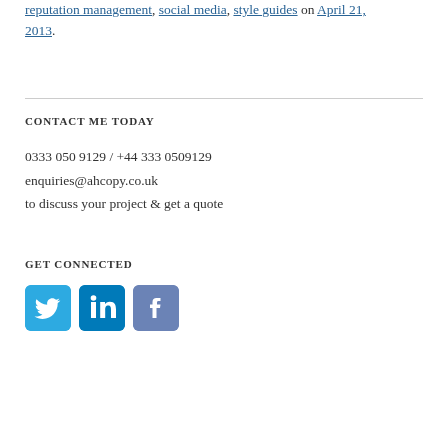reputation management, social media, style guides on April 21, 2013.
CONTACT ME TODAY
0333 050 9129 / +44 333 0509129
enquiries@ahcopy.co.uk
to discuss your project & get a quote
GET CONNECTED
[Figure (infographic): Three social media icons: Twitter (blue bird icon), LinkedIn (blue 'in' logo), Facebook (blue 'f' logo)]